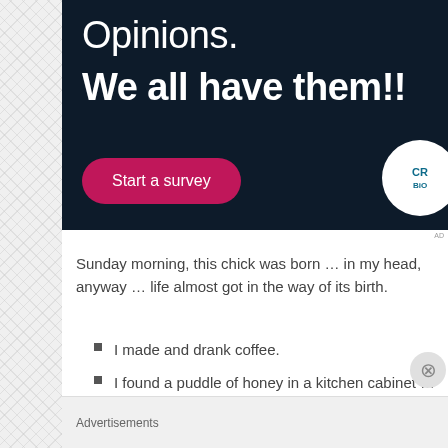[Figure (screenshot): Dark navy advertisement banner with text 'Opinions. We all have them!!' and a pink 'Start a survey' button, plus a white circle logo partially visible on the right edge.]
Sunday morning, this chick was born … in my head, anyway … life almost got in the way of its birth.
I made and drank coffee.
I found a puddle of honey in a kitchen cabinet … what a turn an almost empty, tightly closed, squeeze bottle c
Advertisements